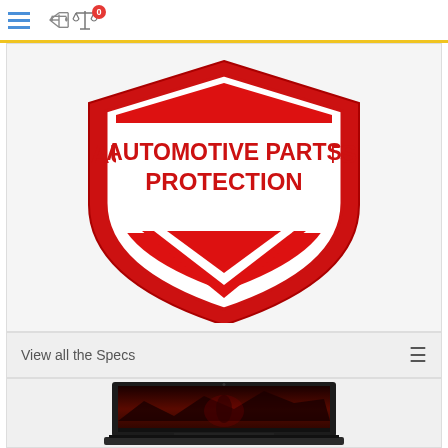Navigation bar with hamburger menu and compare icon (0)
[Figure (logo): Automotive Parts Protection shield logo with red and white design, bold red text reading AUTOMOTIVE PARTS PROTECTION on white background]
View all the Specs
[Figure (photo): Alienware gaming laptop with dark gaming wallpaper showing a warrior/demon figure in red and dark tones]